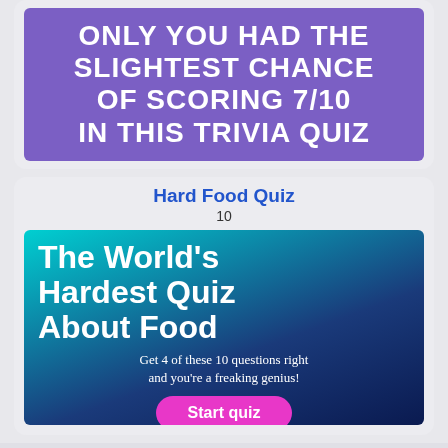[Figure (illustration): Purple banner with bold white uppercase text reading: ONLY YOU HAD THE SLIGHTEST CHANCE OF SCORING 7/10 IN THIS TRIVIA QUIZ]
Hard Food Quiz
10
[Figure (illustration): Teal-to-dark-blue gradient banner with large white bold text: The World's Hardest Quiz About Food. Subtitle: Get 4 of these 10 questions right and you're a freaking genius! Pink Start quiz button.]
Impossible General Trivia Quiz
10 Impossible Questions